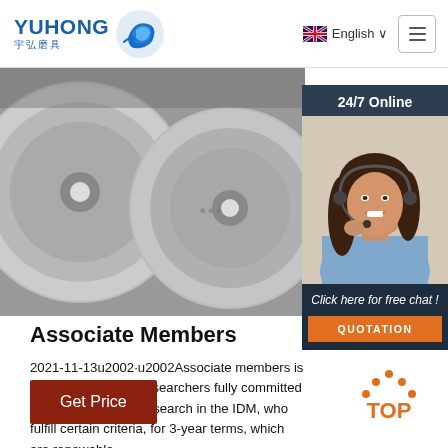[Figure (logo): Yuhong brand logo with Chinese characters 宇弘磨具 and blue wave icon]
[Figure (screenshot): Navigation bar with English language selector and hamburger menu button]
[Figure (photo): Hero image of grinding/cutting discs in grayscale]
[Figure (photo): 24/7 Online chat panel with photo of woman wearing headset, Click here for free chat text, and QUOTATION button]
Associate Members
2021-11-13u2002·u2002Associate members is for up-and-coming researchers fully committed to conducting their research in the IDM, who fulfill certain criteria, for 3-year terms, which are renewable.
[Figure (other): Get Price button (dark red)]
[Figure (other): TOP scroll-to-top icon in orange]